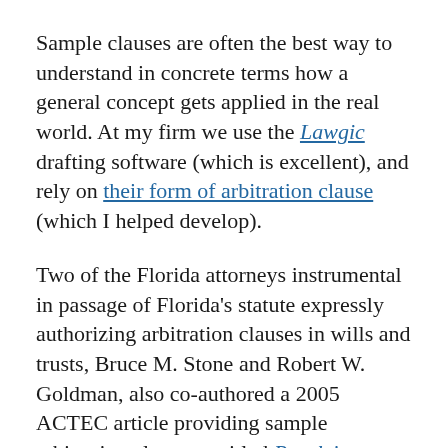Sample clauses are often the best way to understand in concrete terms how a general concept gets applied in the real world. At my firm we use the Lawgic drafting software (which is excellent), and rely on their form of arbitration clause (which I helped develop).
Two of the Florida attorneys instrumental in passage of Florida's statute expressly authorizing arbitration clauses in wills and trusts, Bruce M. Stone and Robert W. Goldman, also co-authored a 2005 ACTEC article providing sample arbitration clauses entitled Resolving Disputes with Ease and Grace.
And last but not least, another drafting resource is AAA's Wills and Trusts Arbitration Rules and